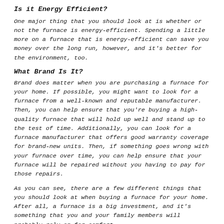Is it Energy Efficient?
One major thing that you should look at is whether or not the furnace is energy-efficient. Spending a little more on a furnace that is energy-efficient can save you money over the long run, however, and it's better for the environment, too.
What Brand Is It?
Brand does matter when you are purchasing a furnace for your home. If possible, you might want to look for a furnace from a well-known and reputable manufacturer. Then, you can help ensure that you're buying a high-quality furnace that will hold up well and stand up to the test of time. Additionally, you can look for a furnace manufacturer that offers good warranty coverage for brand-new units. Then, if something goes wrong with your furnace over time, you can help ensure that your furnace will be repaired without you having to pay for those repairs.
As you can see, there are a few different things that you should look at when buying a furnace for your home. After all, a furnace is a big investment, and it's something that you and your family members will probably rely on for comfort...